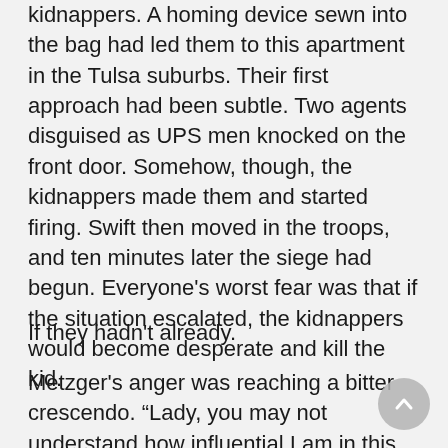kidnappers. A homing device sewn into the bag had led them to this apartment in the Tulsa suburbs. Their first approach had been subtle. Two agents disguised as UPS men knocked on the front door. Somehow, though, the kidnappers made them and started firing. Swift then moved in the troops, and ten minutes later the siege had begun. Everyone's worst fear was that if the situation escalated, the kidnappers would become desperate and kill the kid.
If they hadn't already.
Metzger's anger was reaching a bitter crescendo. “Lady, you may not understand how influential I am in this community. I know people. Lots of powerful people. And if you don't do something fast to save my